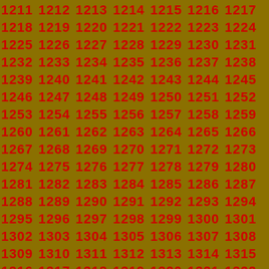1211 1212 1213 1214 1215 1216 1217 1218 1219 1220 1221 1222 1223 1224 1225 1226 1227 1228 1229 1230 1231 1232 1233 1234 1235 1236 1237 1238 1239 1240 1241 1242 1243 1244 1245 1246 1247 1248 1249 1250 1251 1252 1253 1254 1255 1256 1257 1258 1259 1260 1261 1262 1263 1264 1265 1266 1267 1268 1269 1270 1271 1272 1273 1274 1275 1276 1277 1278 1279 1280 1281 1282 1283 1284 1285 1286 1287 1288 1289 1290 1291 1292 1293 1294 1295 1296 1297 1298 1299 1300 1301 1302 1303 1304 1305 1306 1307 1308 1309 1310 1311 1312 1313 1314 1315 1316 1317 1318 1319 1320 1321 1322 1323 1324 1325 1326 1327 1328 1329 1330 1331 1332 1333 1334 1335 1336 1337 1338 1339 1340 1341 1342 1343 1344 1345 1346 1347 1348 1349 1350 1351 1352 1353 1354 1355 1356 1357 1358 1359 1360 1361 1362 1363 1364 1365 1366 1367 1368 1369 1370 1371 1372 1373 1374 1375 1376 1377 1378 1379 1380 1381 1382 1383 1384 1385 1386 1387 1388 1389 1390 1391 1392 1393 1394 1395 1396 1397 1398 1399 1400 1401 1402 1403 1404 1405 1406 1407 1408 1409 1410 1411 1412 1413 1414 1415 1416 1417 1418 1419 1420 1421 1422 1423 1424 1425 1426 1427 1428 1429 1430 1431 1432 1433 1434 1435 1436 1437 1438 1439 1440 1441 1442 1443 1444 1445 1446 1447 1448 1449 1450 1451 1452 1453 1454 1455 1456 1457 1458 1459 1460 1461 1462 1463 1464 1465 1466 1467 1468 1469 1470 1471 1472 1473 1474 1475 1476 1477 1478 1479 1480 1481 1482 1483 1484 1485 1486 1487 1488 1489 1490 1491 1492 1493 1494 1495 1496 1497 1498 1499 1500 1501 1502 1503 1504 1505 1506 1507 1508 1509 1510 1511 1512 1513 1514 1515 1516 1517 1518 1519 1520 1521 1522 1523 1524 1525 1526 1527 1528 1529 1530 1531 1532 1533 1534 1535 1536 1537 1538